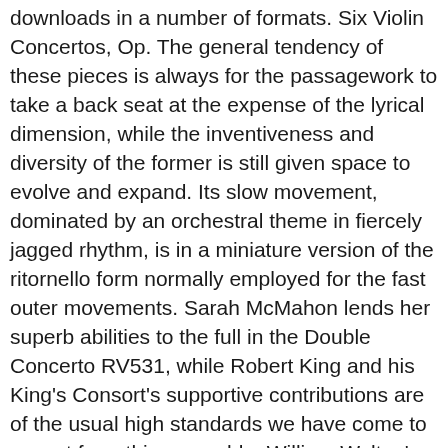downloads in a number of formats. Six Violin Concertos, Op. The general tendency of these pieces is always for the passagework to take a back seat at the expense of the lyrical dimension, while the inventiveness and diversity of the former is still given space to evolve and expand. Its slow movement, dominated by an orchestral theme in fiercely jagged rhythm, is in a miniature version of the ritornello form normally employed for the fast outer movements. Sarah McMahon lends her superb abilities to the full in the Double Concerto RV531, while Robert King and his King's Consort's supportive contributions are of the usual high standards we have come to expect from this ensemble. William Walton's Concerto written in 1956 was commissioned by and written for Gregor Piatigorsky.A very short introduction, a matter of a few bars, and the cello enters with a lyrical impressionistic sounding melody, punctuated by the flutes, celeste, harp and vibraphone, which rarely appear in cello concerti. In all probability, this was composed for the Pietà during the 1720s. I find myself unusually involved by this release, in several respects, and I recommend it to your